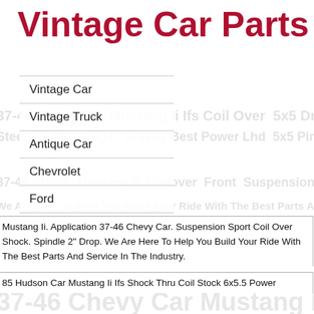Vintage Car Parts
Vintage Car
Vintage Truck
Antique Car
Chevrolet
Ford
Rolls Royce
Mustang Ii. Application 37-46 Chevy Car. Suspension Sport Coil Over Shock. Spindle 2" Drop. We Are Here To Help You Build Your Ride With The Best Parts And Service In The Industry.
85 Hudson Car Mustang Ii Ifs Shock Thru Coil Stock 6x5.5 Power